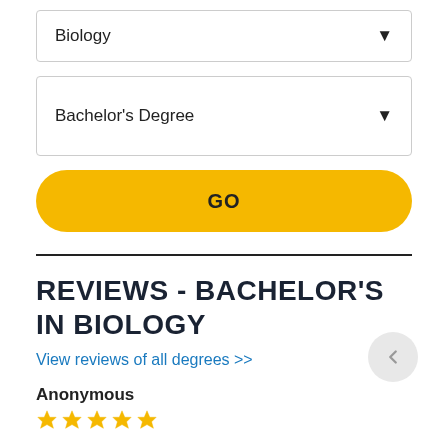Biology
Bachelor's Degree
GO
REVIEWS - BACHELOR'S IN BIOLOGY
View reviews of all degrees >>
Anonymous